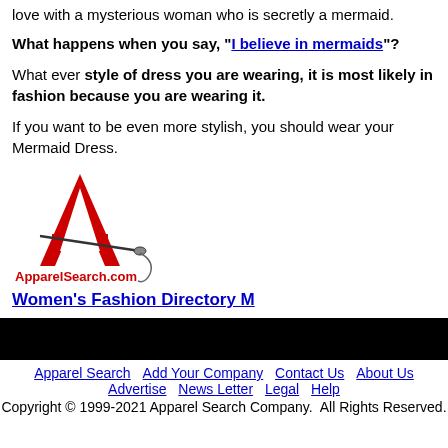love with a mysterious woman who is secretly a mermaid.
What happens when you say, "I believe in mermaids"?
What ever style of dress you are wearing, it is most likely in fashion because you are wearing it.
If you want to be even more stylish, you should wear your Mermaid Dress.
[Figure (logo): ApparelSearch.com logo with large red letter A and needle/thread graphic]
Women's Fashion Directory M
[Figure (other): Black banner bar]
Apparel Search | Add Your Company | Contact Us | About Us | Advertise | News Letter | Legal | Help
Copyright © 1999-2021 Apparel Search Company. All Rights Reserved.